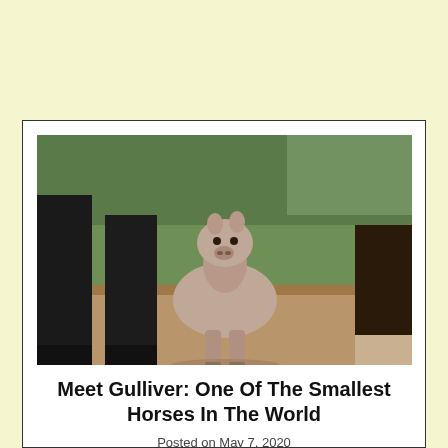[Figure (photo): A very small foal (miniature horse) standing between the legs of a larger horse on sandy ground, with green trees and bushes in the background. The tiny foal is light brown/grey and faces the camera.]
Meet Gulliver: One Of The Smallest Horses In The World
Posted on May 7, 2020